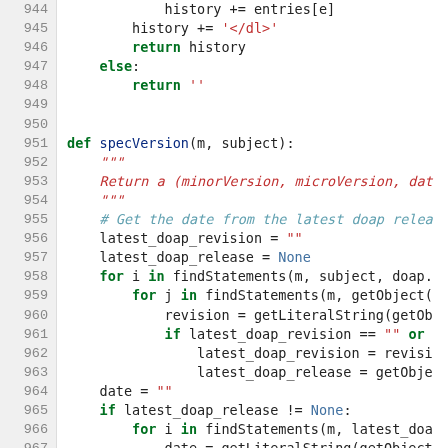[Figure (screenshot): Python source code listing showing lines 944–973, including a function specVersion(m, subject) with docstring, comments, for loops, and variable assignments. Syntax-highlighted with green keywords, red strings/docstrings, blue comments, purple built-ins.]